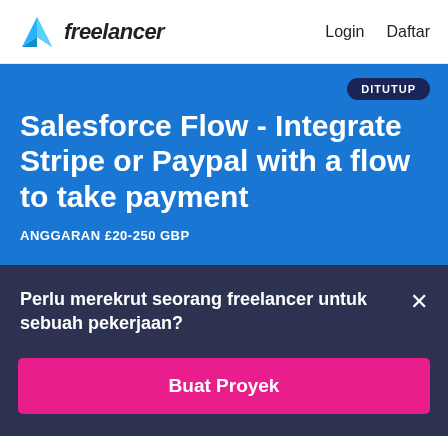[Figure (logo): Freelancer logo with cyan geometric bird/arrow icon and 'freelancer' wordmark in dark text]
Login  Daftar
Salesforce Flow - Integrate Stripe or Paypal with a flow to take payment
ANGGARAN £20-250 GBP
DITUTUP
Perlu merekrut seorang freelancer untuk sebuah pekerjaan?
Buat Proyek